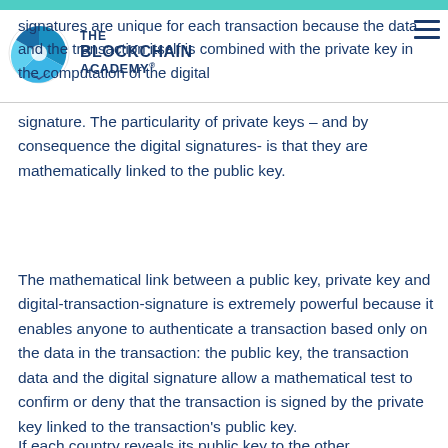signatures are unique for each transaction because the data and the transaction itself is combined with the private key in the computation of the digital signature. The particularity of private keys – and by consequence the digital signatures- is that they are mathematically linked to the public key.
The mathematical link between a public key, private key and digital-transaction-signature is extremely powerful because it enables anyone to authenticate a transaction based only on the data in the transaction: the public key, the transaction data and the digital signature allow a mathematical test to confirm or deny that the transaction is signed by the private key linked to the transaction's public key.
If each country reveals its public key to the other